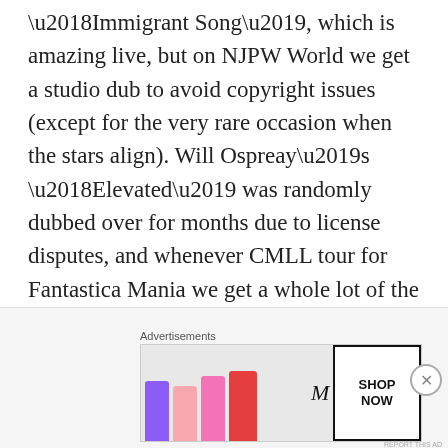'Immigrant Song', which is amazing live, but on NJPW World we get a studio dub to avoid copyright issues (except for the very rare occasion when the stars align). Will Ospreay's 'Elevated' was randomly dubbed over for months due to license disputes, and whenever CMLL tour for Fantastica Mania we get a whole lot of the same song dubbed over every entrance.
This had never been an issue for El
[Figure (other): MAC Cosmetics advertisement showing lipsticks in purple, pink, and red colors alongside the MAC logo and a 'SHOP NOW' button, with an 'Advertisements' label above.]